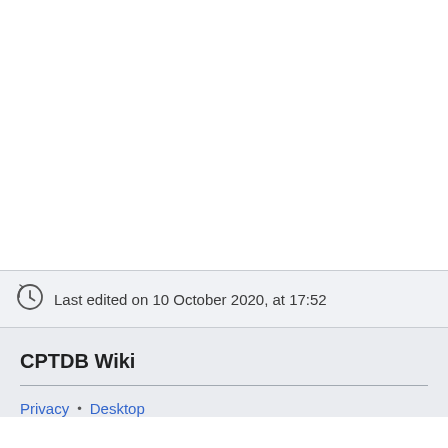Last edited on 10 October 2020, at 17:52
CPTDB Wiki
Privacy • Desktop